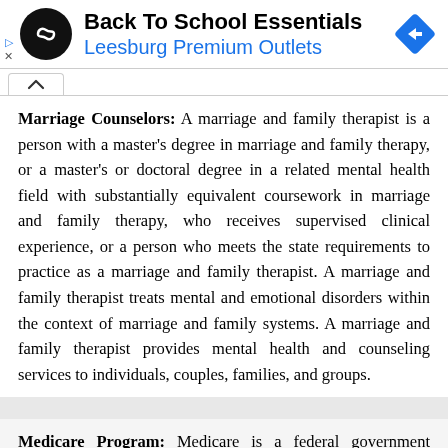[Figure (infographic): Advertisement banner for Back To School Essentials at Leesburg Premium Outlets, with circular black logo and blue diamond navigation icon]
Marriage Counselors: A marriage and family therapist is a person with a master's degree in marriage and family therapy, or a master's or doctoral degree in a related mental health field with substantially equivalent coursework in marriage and family therapy, who receives supervised clinical experience, or a person who meets the state requirements to practice as a marriage and family therapist. A marriage and family therapist treats mental and emotional disorders within the context of marriage and family systems. A marriage and family therapist provides mental health and counseling services to individuals, couples, families, and groups.
Medicare Program: Medicare is a federal government program which provides health insurance to people who are 65 or older.